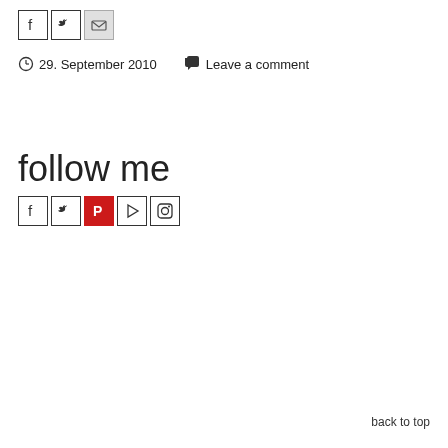[Figure (other): Social share icons: Facebook, Twitter, Email (three icon boxes in a row)]
29. September 2010   Leave a comment
follow me
[Figure (other): Social follow icons: Facebook, Twitter, Pinterest (red), YouTube, Instagram (five icon boxes in a row)]
back to top